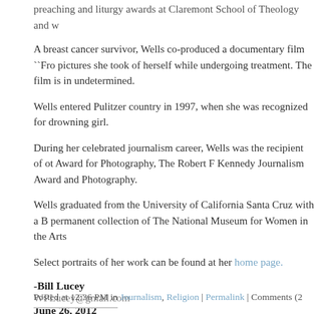preaching and liturgy awards at Claremont School of Theology and w
A breast cancer survivor, Wells co-produced a documentary film ``Fro pictures she took of herself while undergoing treatment. The film is in undetermined.
Wells entered Pulitzer country in 1997, when she was recognized for drowning girl.
During her celebrated journalism career, Wells was the recipient of ot Award for Photography, The Robert F Kennedy Journalism Award and Photography.
Wells graduated from the University of California Santa Cruz with a B permanent collection of The National Museum for Women in the Arts
Select portraits of her work can be found at her home page.
-Bill Lucey
WPLucey@gmail.com
June 26, 2012
Posted at 12:36 PM in Journalism, Religion | Permalink | Comments (2